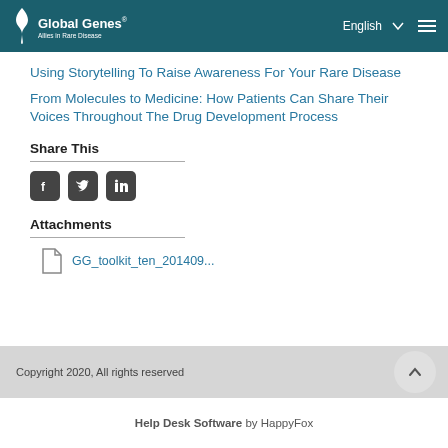Global Genes | English
Using Storytelling To Raise Awareness For Your Rare Disease
From Molecules to Medicine: How Patients Can Share Their Voices Throughout The Drug Development Process
Share This
[Figure (other): Social media share icons: Facebook, Twitter, LinkedIn]
Attachments
GG_toolkit_ten_201409...
Copyright 2020, All rights reserved
Help Desk Software by HappyFox